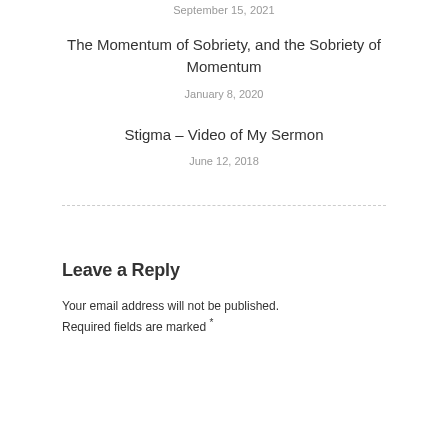September 15, 2021
The Momentum of Sobriety, and the Sobriety of Momentum
January 8, 2020
Stigma – Video of My Sermon
June 12, 2018
Leave a Reply
Your email address will not be published. Required fields are marked *